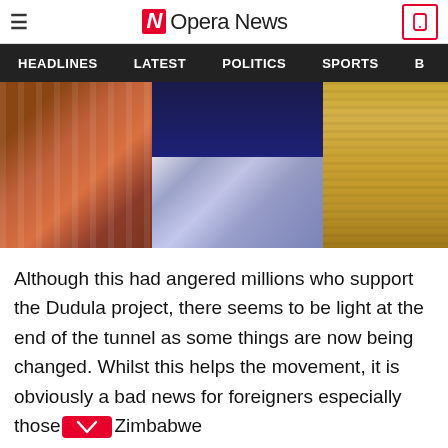Opera News
HEADLINES   LATEST   POLITICS   SPORTS
[Figure (photo): Photo of people wearing colorful clothing — left side shows patterned orange/brown fabric, center shows dark navy blue top with leopard print fabric, right side shows golden braided hair extensions.]
Although this had angered millions who support the Dudula project, there seems to be light at the end of the tunnel as some things are now being changed. Whilst this helps the movement, it is obviously a bad news for foreigners especially those Zimbabwe